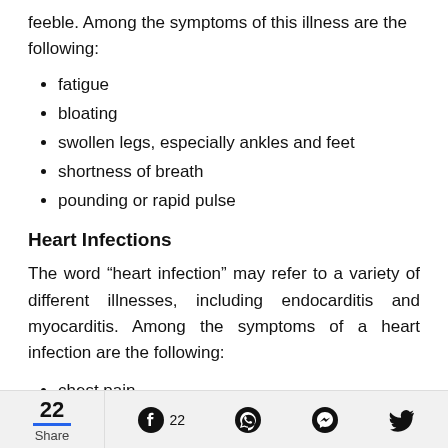feeble. Among the symptoms of this illness are the following:
fatigue
bloating
swollen legs, especially ankles and feet
shortness of breath
pounding or rapid pulse
Heart Infections
The word “heart infection” may refer to a variety of different illnesses, including endocarditis and myocarditis. Among the symptoms of a heart infection are the following:
chest pain
chest congestion or coughing
22  Share  22